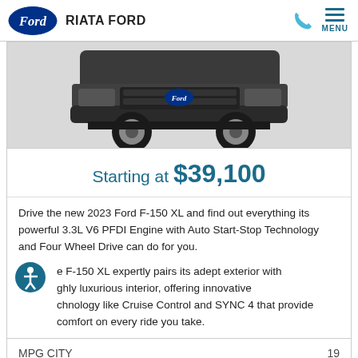RIATA FORD
[Figure (photo): Front view of a dark gray Ford F-150 truck, showing the grille, bumper, and front wheels against a light gray background]
Starting at $39,100
Drive the new 2023 Ford F-150 XL and find out everything its powerful 3.3L V6 PFDI Engine with Auto Start-Stop Technology and Four Wheel Drive can do for you.
The F-150 XL expertly pairs its adept exterior with a highly luxurious interior, offering innovative technology like Cruise Control and SYNC 4 that provide comfort on every ride you take.
| MPG CITY |  |
| --- | --- |
| MPG CITY | 19 |